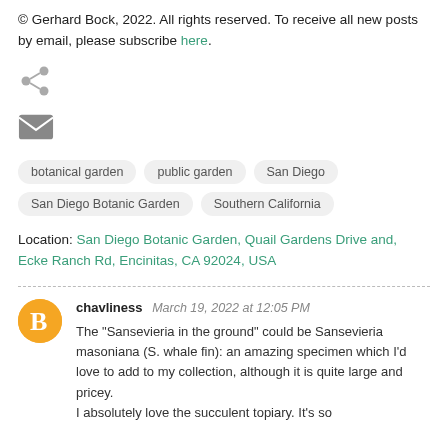© Gerhard Bock, 2022. All rights reserved. To receive all new posts by email, please subscribe here.
[Figure (other): Share icon (social share symbol)]
[Figure (other): Email/envelope icon]
botanical garden
public garden
San Diego
San Diego Botanic Garden
Southern California
Location: San Diego Botanic Garden, Quail Gardens Drive and, Ecke Ranch Rd, Encinitas, CA 92024, USA
chavliness  March 19, 2022 at 12:05 PM
The "Sansevieria in the ground" could be Sansevieria masoniana (S. whale fin): an amazing specimen which I'd love to add to my collection, although it is quite large and pricey.
I absolutely love the succulent topiary. It's so